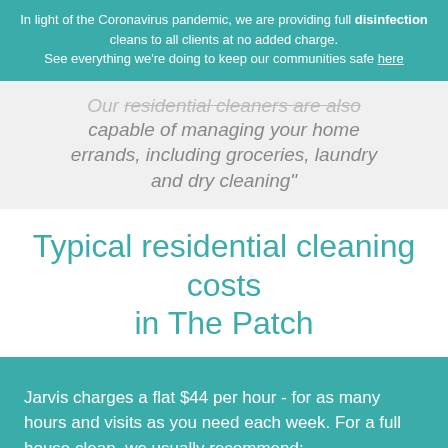In light of the Coronavirus pandemic, we are providing full disinfection cleans to all clients at no added charge. See everything we're doing to keep our communities safe here
capable of managing your home errands, including groceries, laundry and dry cleaning"
Typical residential cleaning costs in The Patch
Jarvis charges a flat $44 per hour - for as many hours and visits as you need each week. For a full house clean, we usually recommend: